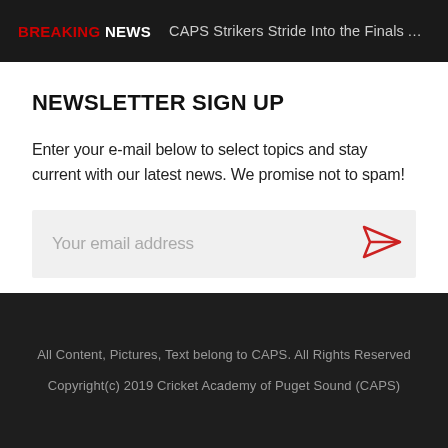BREAKING NEWS   CAPS Strikers Stride Into the Finals After ...
NEWSLETTER SIGN UP
Enter your e-mail below to select topics and stay current with our latest news. We promise not to spam!
Your email address
All Content, Pictures, Text belong to CAPS. All Rights Reserved
Copyright(c) 2019 Cricket Academy of Puget Sound (CAPS)